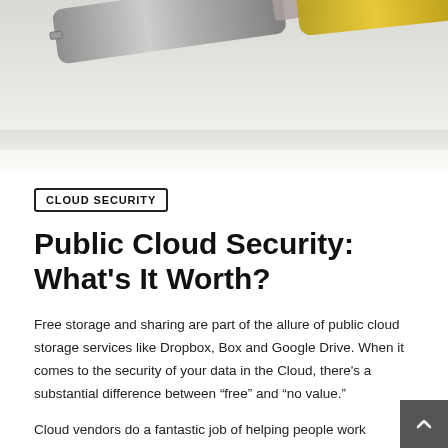[Figure (photo): Partial image of USB flash drives or similar storage devices against a light background, partially visible at top of page]
CLOUD SECURITY
Public Cloud Security: What's It Worth?
Free storage and sharing are part of the allure of public cloud storage services like Dropbox, Box and Google Drive. When it comes to the security of your data in the Cloud, there's a substantial difference between “free” and “no value.”
Cloud vendors do a fantastic job of helping people work together by providing easy, fluid storage for the